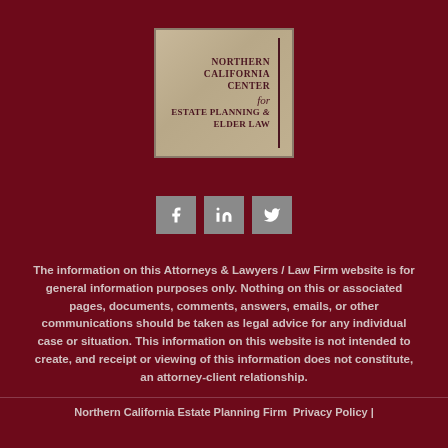[Figure (logo): Northern California Center for Estate Planning & Elder Law logo — beige/tan square with dark red serif text and vertical bar divider]
[Figure (infographic): Three social media icon buttons: Facebook (f), LinkedIn (in), Twitter (bird icon), displayed as grey squares with white icons]
The information on this Attorneys & Lawyers / Law Firm website is for general information purposes only. Nothing on this or associated pages, documents, comments, answers, emails, or other communications should be taken as legal advice for any individual case or situation. This information on this website is not intended to create, and receipt or viewing of this information does not constitute, an attorney-client relationship.
Northern California Estate Planning Firm Privacy Policy |